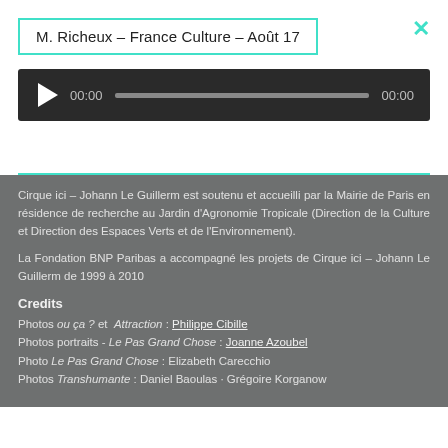M. Richeux – France Culture – Août 17
[Figure (screenshot): Audio player widget with play button, time display 00:00, progress bar, and end time 00:00 on dark background]
Cirque ici – Johann Le Guillerm est soutenu et accueilli par la Mairie de Paris en résidence de recherche au Jardin d'Agronomie Tropicale (Direction de la Culture et Direction des Espaces Verts et de l'Environnement).
La Fondation BNP Paribas a accompagné les projets de Cirque ici – Johann Le Guillerm de 1999 à 2010
Credits
Photos ou ça ? et Attraction : Philippe Cibille
Photos portraits - Le Pas Grand Chose : Joanne Azoubel
Photo Le Pas Grand Chose : Elizabeth Carecchio
Photos Transhumante : Daniel Baoulas · Grégoire Korganow